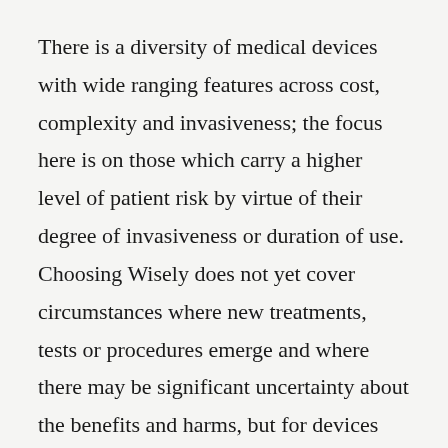There is a diversity of medical devices with wide ranging features across cost, complexity and invasiveness; the focus here is on those which carry a higher level of patient risk by virtue of their degree of invasiveness or duration of use. Choosing Wisely does not yet cover circumstances where new treatments, tests or procedures emerge and where there may be significant uncertainty about the benefits and harms, but for devices where the technology lifecycle is shorter with ongoing incremental innovations, coupled with uncertainty around clinical effectiveness and safety, this is a point at which the clinician-patient conversation needs to occur. While Choosing Wisely focuses on 'waste' the key issue for devices